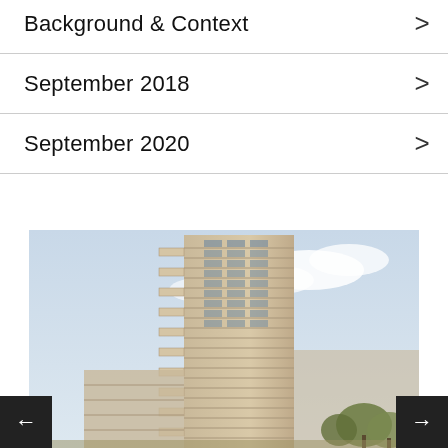Background & Context
September 2018
September 2020
[Figure (photo): Architectural rendering of a tall residential tower building, light-colored with horizontal balcony bands, photographed from ground level against a partly cloudy sky. Trees visible at bottom right.]